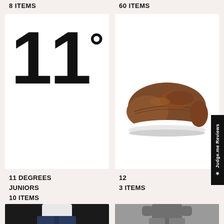8 ITEMS
60 ITEMS
[Figure (illustration): White card with large bold black '11°' text logo for 11 Degrees brand]
[Figure (photo): Brown leather boat shoe with white sole on white background]
11 DEGREES JUNIORS
10 ITEMS
12
3 ITEMS
[Figure (photo): Person wearing navy sweatpants with 11 Degrees logo on leg, white top, dark background]
[Figure (photo): Person wearing grey sweatpants and grey sweatshirt with small 11 Degrees logo, grey background]